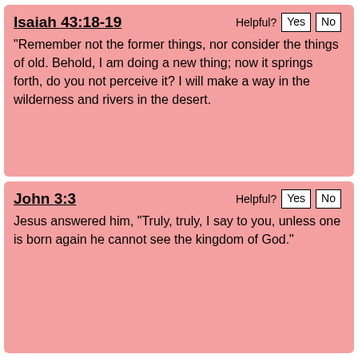Isaiah 43:18-19
“Remember not the former things, nor consider the things of old. Behold, I am doing a new thing; now it springs forth, do you not perceive it? I will make a way in the wilderness and rivers in the desert.
John 3:3
Jesus answered him, “Truly, truly, I say to you, unless one is born again he cannot see the kingdom of God.”